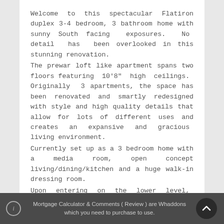Welcome to this spectacular Flatiron duplex 3-4 bedroom, 3 bathroom home with sunny South facing exposures. No detail has been overlooked in this stunning renovation.
The prewar loft like apartment spans two floors featuring 10'8" high ceilings. Originally 3 apartments, the space has been renovated and smartly redesigned with style and high quality details that allow for lots of different uses and creates an expansive and gracious living environment.
Currently set up as a 3 bedroom home with a media room, open concept living/dining/kitchen and a huge walk-in dressing room.
Upon entering on the lower level, you are welcomed by a sun splashed loft style open concept living space which includes, living, dining and a chef's kitchen. Extra large South
Mortgage Calculator & Comments ( Review ) are Whaddons which you need to purchase to use.